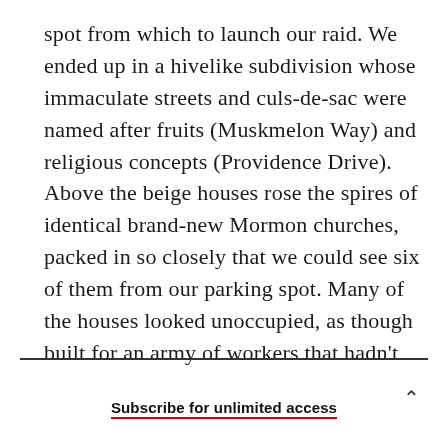spot from which to launch our raid. We ended up in a hivelike subdivision whose immaculate streets and culs-de-sac were named after fruits (Muskmelon Way) and religious concepts (Providence Drive). Above the beige houses rose the spires of identical brand-new Mormon churches, packed in so closely that we could see six of them from our parking spot. Many of the houses looked unoccupied, as though built for an army of workers that hadn't yet arrived. In one of the driveways was a car whose license plate ended in NSA.
Subscribe for unlimited access